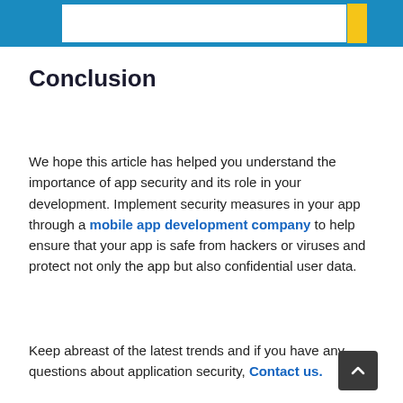Conclusion
We hope this article has helped you understand the importance of app security and its role in your development. Implement security measures in your app through a mobile app development company to help ensure that your app is safe from hackers or viruses and protect not only the app but also confidential user data.
Keep abreast of the latest trends and if you have any questions about application security, Contact us.